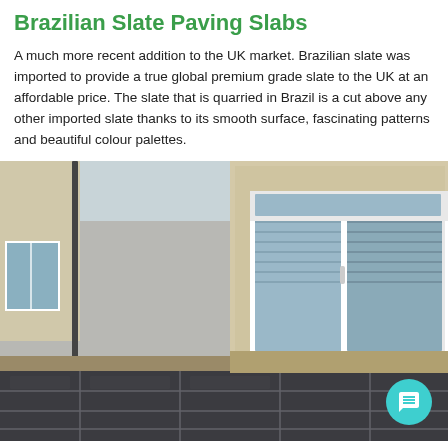Brazilian Slate Paving Slabs
A much more recent addition to the UK market. Brazilian slate was imported to provide a true global premium grade slate to the UK at an affordable price. The slate that is quarried in Brazil is a cut above any other imported slate thanks to its smooth surface, fascinating patterns and beautiful colour palettes.
[Figure (photo): Photograph of a paved outdoor patio area using dark grey Brazilian slate paving slabs, with a white-framed glass door and rough-cast rendered wall of a house in the background. A teal chat bubble icon is visible in the bottom right corner.]